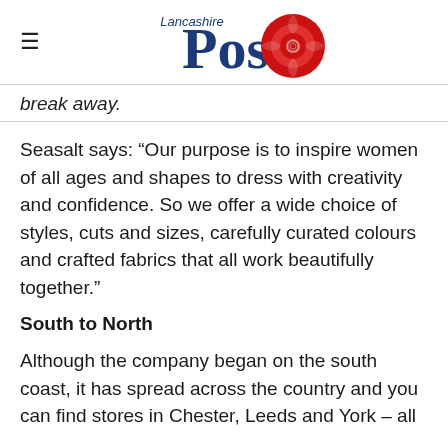Lancashire Post
break away.
Seasalt says: “Our purpose is to inspire women of all ages and shapes to dress with creativity and confidence. So we offer a wide choice of styles, cuts and sizes, carefully curated colours and crafted fabrics that all work beautifully together.”
South to North
Although the company began on the south coast, it has spread across the country and you can find stores in Chester, Leeds and York – all